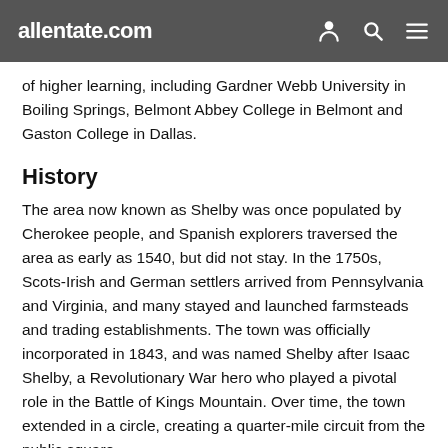allentate.com
of higher learning, including Gardner Webb University in Boiling Springs, Belmont Abbey College in Belmont and Gaston College in Dallas.
History
The area now known as Shelby was once populated by Cherokee people, and Spanish explorers traversed the area as early as 1540, but did not stay. In the 1750s, Scots-Irish and German settlers arrived from Pennsylvania and Virginia, and many stayed and launched farmsteads and trading establishments. The town was officially incorporated in 1843, and was named Shelby after Isaac Shelby, a Revolutionary War hero who played a pivotal role in the Battle of Kings Mountain. Over time, the town extended in a circle, creating a quarter-mile circuit from the public square.